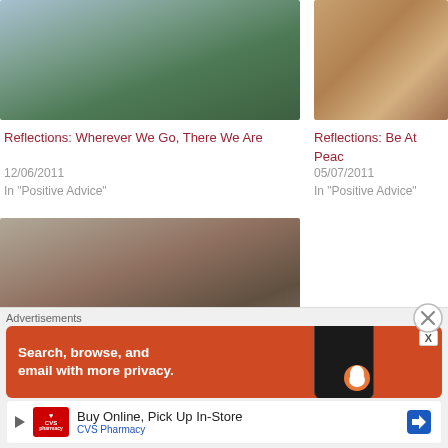[Figure (photo): Photo of a green bronze sculpture of a seated thinker figure, crouched with head resting on fist, against a light blue sky background.]
[Figure (photo): Photo of a classical painting showing robed figures in an ancient scene with architectural elements and a garden.]
Reflections: Wherever We Go, There We Are
12/06/2011
In "Positive Advice"
Reflections: Be At Peac
05/07/2011
In "Positive Advice"
[Figure (photo): Photo of a dark bronze or stone reclining nude sculpture lying on a stone surface, viewed from an angle in a museum setting.]
Advertisements
[Figure (screenshot): DuckDuckGo advertisement banner: orange/red background with white bold text 'Search, browse, and email with more privacy.' with a smartphone graphic and duck logo on the right.]
[Figure (screenshot): CVS Pharmacy advertisement: white background with CVS Pharmacy logo on left, text 'Buy Online, Pick Up In-Store' in center, blue navigation arrow icon on right, and 'CVS Pharmacy' text below.]